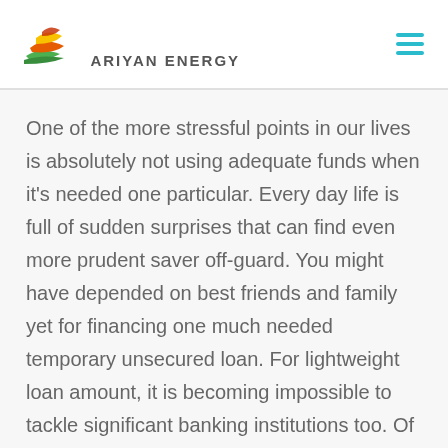[Figure (logo): Ariyan Energy logo with stylized flame/leaf icon in orange, yellow, green and text 'ARIYAN ENERGY']
One of the more stressful points in our lives is absolutely not using adequate funds when it's needed one particular. Every day life is full of sudden surprises that can find even more prudent saver off-guard. You might have depended on best friends and family yet for financing one much needed temporary unsecured loan. For lightweight loan amount, it is becoming impossible to tackle significant banking institutions too. Of course you've a